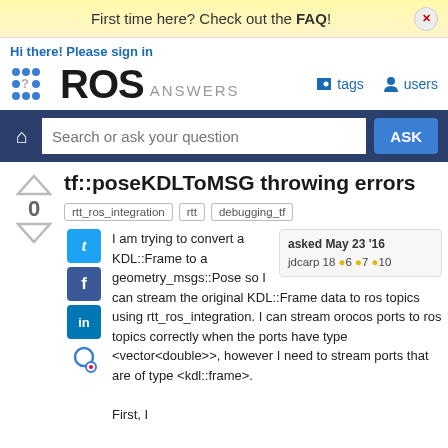First time here? Check out the FAQ!
Hi there! Please sign in
tf::poseKDLToMSG throwing errors
rtt_ros_integration
rtt
debugging_tf
I am trying to convert a KDL::Frame to a geometry_msgs::Pose so I can stream the original KDL::Frame data to ros topics using rtt_ros_integration. I can stream orocos ports to ros topics correctly when the ports have type <vector<double>>, however I need to stream ports that are of type <kdl::frame>.

First, I
asked May 23 '16
jdcarp 18 •6 •7 •10